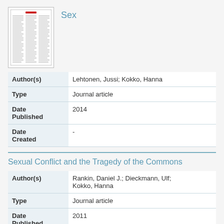Sex
| Field | Value |
| --- | --- |
| Author(s) | Lehtonen, Jussi; Kokko, Hanna |
| Type | Journal article |
| Date Published | 2014 |
| Date Created | - |
Sexual Conflict and the Tragedy of the Commons
| Field | Value |
| --- | --- |
| Author(s) | Rankin, Daniel J.; Dieckmann, Ulf; Kokko, Hanna |
| Type | Journal article |
| Date Published | 2011 |